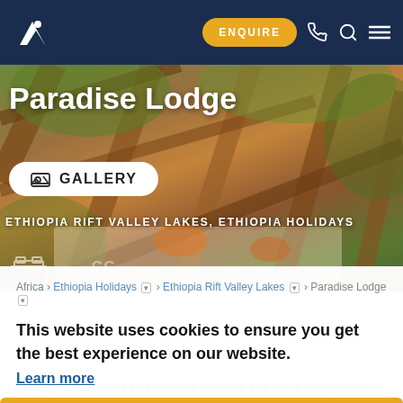ENQUIRE  [phone] [search] [menu]
[Figure (photo): Outdoor dining area with wooden lattice furniture and lush green garden background at Paradise Lodge, Ethiopia]
Paradise Lodge
GALLERY
ETHIOPIA RIFT VALLEY LAKES, ETHIOPIA HOLIDAYS
This website uses cookies to ensure you get the best experience on our website.
Learn more
Got it!
Africa › Ethiopia Holidays › Ethiopia Rift Valley Lakes › Paradise Lodge
LARGE, COMFORTABLE LODGE ON THE LIP OF A FORESTED GORGE